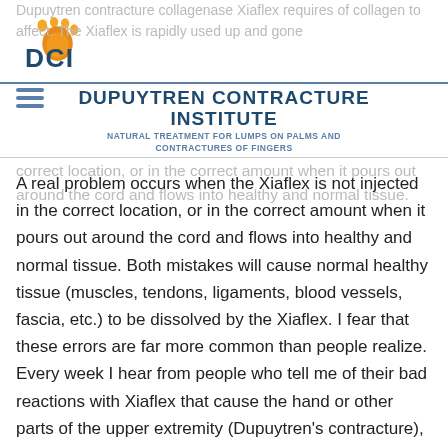[Figure (logo): DCI logo with orange paw print and teal DCI letters]
DUPUYTREN CONTRACTURE INSTITUTE
NATURAL TREATMENT FOR LUMPS ON PALMS AND CONTRACTURES OF FINGERS
A real problem occurs when the Xiaflex is not injected in the correct location, or in the correct amount when it pours out around the cord and flows into healthy and normal tissue. Both mistakes will cause normal healthy tissue (muscles, tendons, ligaments, blood vessels, fascia, etc.) to be dissolved by the Xiaflex. I fear that these errors are far more common than people realize. Every week I hear from people who tell me of their bad reactions with Xiaflex that cause the hand or other parts of the upper extremity (Dupuytren's contracture), or the penis (Peyronie's disease) to develop various degrees of ulceration, non-healing, tissue destruction that can require extensive reconstructive surgery. The stories can be very disturbing and grim.